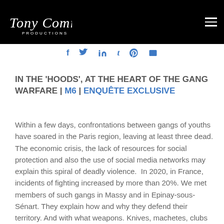Tony Comiti Productions
f  t  in  t  p  mail
IN THE ‘HOODS’, AT THE HEART OF THE GANG WARFARE | M6 | ENQUÊTE EXCLUSIVE
Within a few days, confrontations between gangs of youths have soared in the Paris region, leaving at least three dead. The economic crisis, the lack of resources for social protection and also the use of social media networks may explain this spiral of deadly violence.  In 2020, in France, incidents of fighting increased by more than 20%. We met members of such gangs in Massy and in Epinay-sous-Sénart. They explain how and why they defend their territory. And with what weapons. Knives, machetes, clubs and now even with firearms.  They